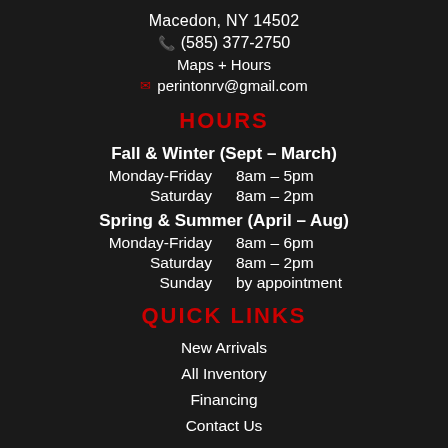Macedon, NY 14502
(585) 377-2750
Maps + Hours
perintonrv@gmail.com
HOURS
Fall & Winter (Sept – March)
Monday-Friday   8am – 5pm
Saturday        8am – 2pm
Spring & Summer (April – Aug)
Monday-Friday   8am – 6pm
Saturday        8am – 2pm
Sunday          by appointment
QUICK LINKS
New Arrivals
All Inventory
Financing
Contact Us